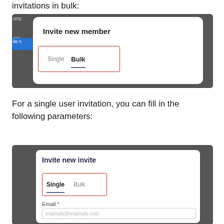invitations in bulk:
[Figure (screenshot): Screenshot of 'Invite new member' dialog with Single and Bulk tabs, Bulk tab selected and highlighted with red box]
For a single user invitation, you can fill in the following parameters:
[Figure (screenshot): Screenshot of 'Invite new invite' dialog with Single tab selected and highlighted with red box, showing Email field with placeholder example@example.com]